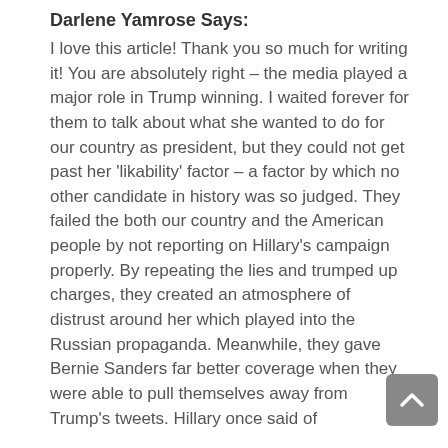Darlene Yamrose Says:
I love this article! Thank you so much for writing it! You are absolutely right – the media played a major role in Trump winning. I waited forever for them to talk about what she wanted to do for our country as president, but they could not get past her 'likability' factor – a factor by which no other candidate in history was so judged. They failed the both our country and the American people by not reporting on Hillary's campaign properly. By repeating the lies and trumped up charges, they created an atmosphere of distrust around her which played into the Russian propaganda. Meanwhile, they gave Bernie Sanders far better coverage when they were able to pull themselves away from Trump's tweets. Hillary once said of
[Figure (other): Scroll-to-top button — a grey rounded square with an upward-pointing chevron arrow icon]